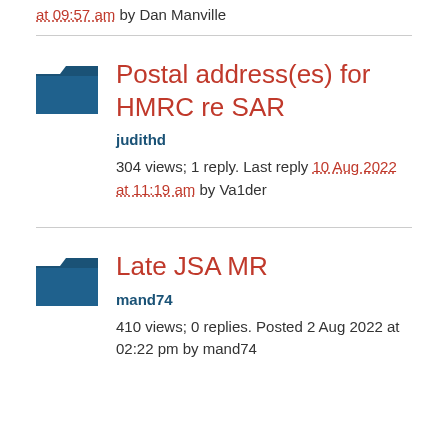at 09:57 am by Dan Manville
Postal address(es) for HMRC re SAR
judithd
304 views; 1 reply. Last reply 10 Aug 2022 at 11:19 am by Va1der
Late JSA MR
mand74
410 views; 0 replies. Posted 2 Aug 2022 at 02:22 pm by mand74